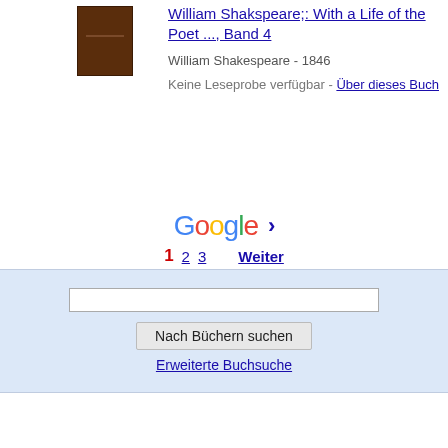[Figure (illustration): Dark brown book cover thumbnail]
William Shakspeare;: With a Life of the Poet ..., Band 4
William Shakespeare - 1846
Keine Leseprobe verfügbar - Über dieses Buch
[Figure (logo): Google logo with pagination arrows and page numbers: 1 2 3 and Weiter link]
Nach Büchern suchen (search button) Erweiterte Buchsuche